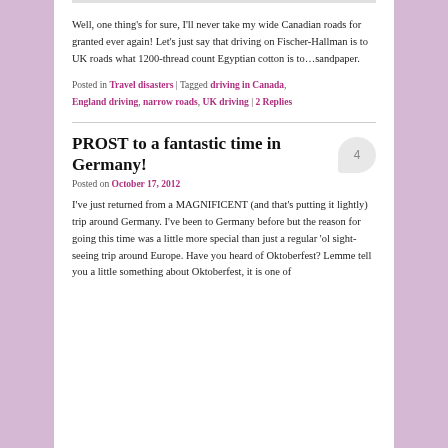Well, one thing’s for sure, I’ll never take my wide Canadian roads for granted ever again! Let’s just say that driving on Fischer-Hallman is to UK roads what 1200-thread count Egyptian cotton is to…sandpaper.
Posted in Travel disasters | Tagged driving in Canada, England driving, narrow roads, UK driving | 2 Replies
PROST to a fantastic time in Germany!
Posted on October 17, 2012
I’ve just returned from a MAGNIFICENT (and that’s putting it lightly) trip around Germany. I’ve been to Germany before but the reason for going this time was a little more special than just a regular ‘ol sight-seeing trip around Europe. Have you heard of Oktoberfest? Lemme tell you a little something about Oktoberfest, it is one of